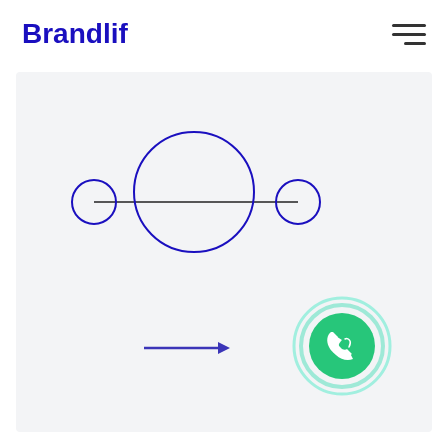Brandlif
[Figure (illustration): Hamburger menu icon with three horizontal lines, right-aligned in header]
[Figure (schematic): Network diagram with a large blue circle in the center connected by horizontal lines to a small circle on the left and a small circle on the right, all in blue outline]
[Figure (illustration): A blue arrow pointing right]
[Figure (illustration): WhatsApp-style phone icon button: green circle with white phone handset icon, surrounded by a mint/turquoise ring]